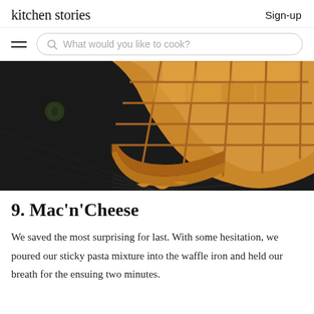kitchen stories | Sign-up
What would you like to cook?
[Figure (photo): Close-up photo of a golden-brown waffle on a dark background, with a small green olive or grape visible to the left]
9. Mac'n'Cheese
We saved the most surprising for last. With some hesitation, we poured our sticky pasta mixture into the waffle iron and held our breath for the ensuing two minutes.